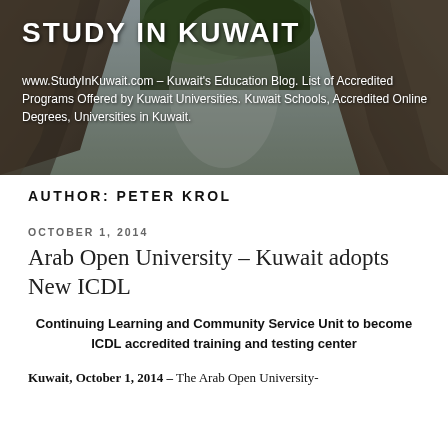[Figure (photo): Header banner with rocky/forest background photo for Study In Kuwait website]
STUDY IN KUWAIT
www.StudyInKuwait.com – Kuwait's Education Blog. List of Accredited Programs Offered by Kuwait Universities. Kuwait Schools, Accredited Online Degrees, Universities in Kuwait.
AUTHOR: PETER KROL
OCTOBER 1, 2014
Arab Open University – Kuwait adopts New ICDL
Continuing Learning and Community Service Unit to become ICDL accredited training and testing center
Kuwait, October 1, 2014 – The Arab Open University-